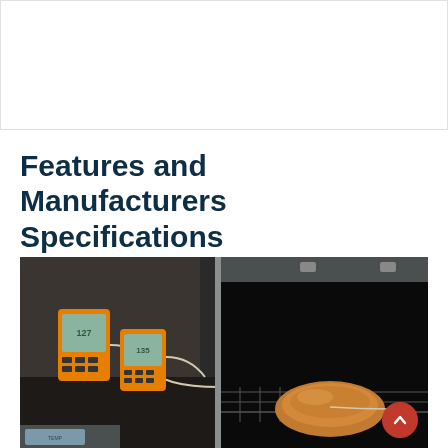[Figure (other): White rectangle placeholder box at top of page]
Features and Manufacturers Specifications
[Figure (photo): Photo of two orange/yellow digital meat thermometers with probe wires sitting on a dark surface next to a smoker grill with a piece of chicken cooking inside on a wire rack]